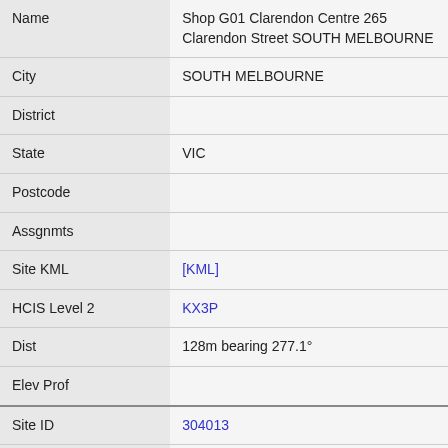| Name | Shop G01 Clarendon Centre 265 Clarendon Street SOUTH MELBOURNE |
| City | SOUTH MELBOURNE |
| District |  |
| State | VIC |
| Postcode |  |
| Assgnmts |  |
| Site KML | [KML] |
| HCIS Level 2 | KX3P |
| Dist | 128m bearing 277.1° |
| Elev Prof |  |
| Site ID | 304013 |
| Name | Telstra Site cnr Dorcas & Clarendon Sts SOUTH MELBOURNE |
| City | SOUTH MELBOURNE |
| District |  |
| State | VIC |
| Postcode | 3205 |